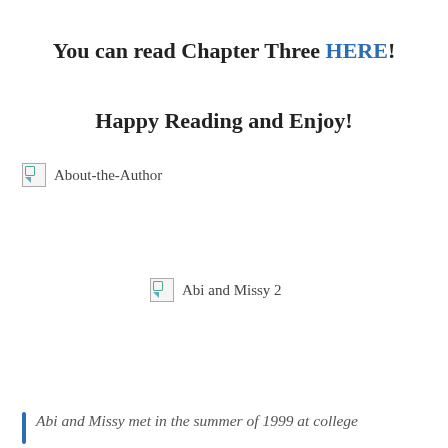You can read Chapter Three HERE!
Happy Reading and Enjoy!
[Figure (photo): Broken image placeholder labeled 'About-the-Author']
[Figure (photo): Broken image placeholder labeled 'Abi and Missy 2']
Abi and Missy met in the summer of 1999 at college